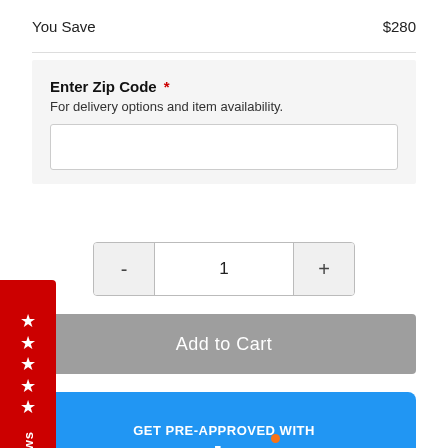You Save   $280
Enter Zip Code * — For delivery options and item availability.
1
Add to Cart
[Figure (screenshot): GET PRE-APPROVED WITH acima banner in blue with Acima logo and Q icon]
Reviews